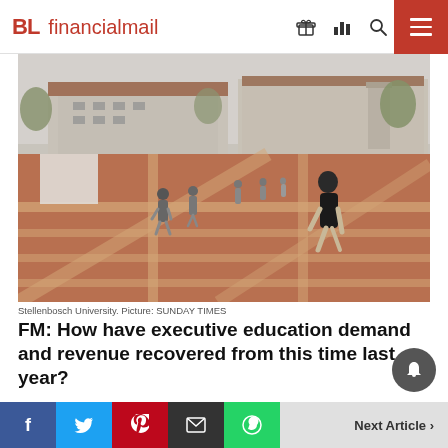BL financialmail
[Figure (photo): Stellenbosch University campus courtyard with brick paving and students walking, buildings in the background]
Stellenbosch University. Picture: SUNDAY TIMES
FM: How have executive education demand and revenue recovered from this time last year?
ADVERTISEMENT